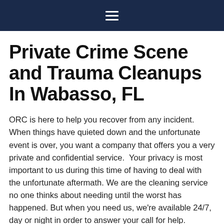≡
Private Crime Scene and Trauma Cleanups In Wabasso, FL
ORC is here to help you recover from any incident. When things have quieted down and the unfortunate event is over, you want a company that offers you a very private and confidential service.  Your privacy is most important to us during this time of having to deal with the unfortunate aftermath. We are the cleaning service no one thinks about needing until the worst has happened. But when you need us, we're available 24/7, day or night in order to answer your call for help.